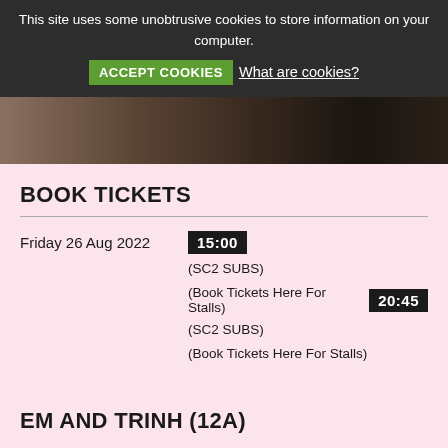This site uses some unobtrusive cookies to store information on your computer.
ACCEPT COOKIES  What are cookies?
[Figure (photo): Partial view of a dark, blurred photo strip showing what appears to be a person]
BOOK TICKETS
Friday 26 Aug 2022  15:00  (SC2 SUBS)  (Book Tickets Here For Stalls) 20:45  (SC2 SUBS)  (Book Tickets Here For Stalls)
EM AND TRINH (12A)